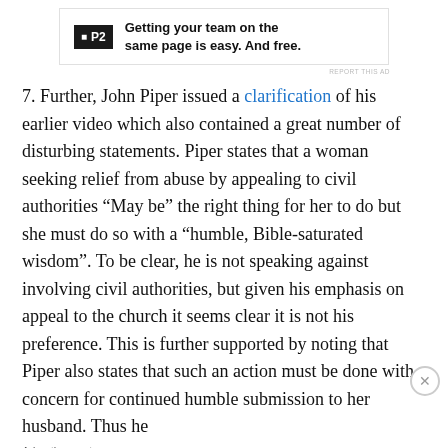[Figure (other): Top advertisement banner: P2 logo with text 'Getting your team on the same page is easy. And free.']
REPORT THIS AD
7. Further, John Piper issued a clarification of his earlier video which also contained a great number of disturbing statements. Piper states that a woman seeking relief from abuse by appealing to civil authorities “May be” the right thing for her to do but she must do so with a “humble, Bible-saturated wisdom”. To be clear, he is not speaking against involving civil authorities, but given his emphasis on appeal to the church it seems clear it is not his preference. This is further supported by noting that Piper also states that such an action must be done with concern for continued humble submission to her husband. Thus he
Advertisements
[Figure (other): Bottom advertisement banner: 'The Platform Where WordPress Works Best' with Pressable logo]